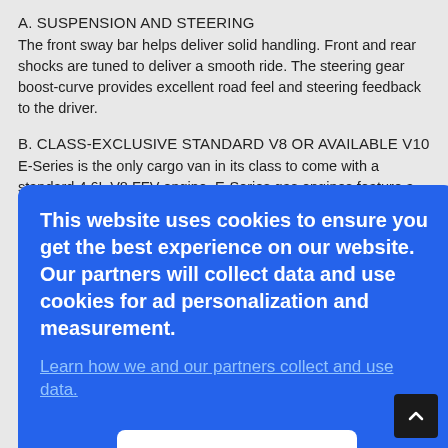A. SUSPENSION AND STEERING
The front sway bar helps deliver solid handling. Front and rear shocks are tuned to deliver a smooth ride. The steering gear boost-curve provides excellent road feel and steering feedback to the driver.
B. CLASS-EXCLUSIVE STANDARD V8 OR AVAILABLE V10
E-Series is the only cargo van in its class to come with a standard 4.6L V8 FFV engine. E-Series gas engines feature a silent-design cam drive for smooth, quiet operation, plus a fail-safe cooling system and a
[Figure (screenshot): Cookie consent overlay popup with blue background, white text reading 'This website uses cookies to ensure you get the best experience on our website. Our partners will collect data and use cookies for ad personalization and measurement.' with a link 'Learn how we and our partners collect and use data.' and an OK button.]
...torque, ...3 ...s
[Figure (other): Back to top button — dark square with white upward chevron, bottom-right corner.]